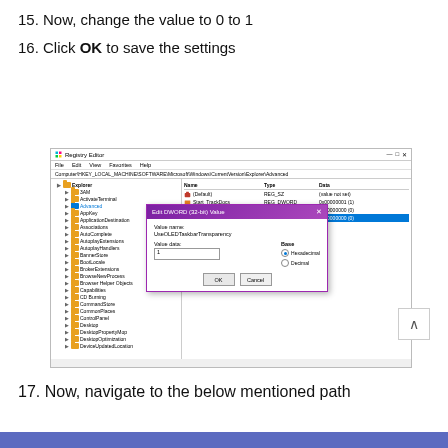15. Now, change the value to 0 to 1
16. Click OK to save the settings
[Figure (screenshot): Registry Editor window showing HKEY_LOCAL_MACHINE\SOFTWARE\Microsoft\Windows\CurrentVersion\Explorer\Advanced path, with a DWORD (32-bit) Value dialog box open for UseOLEDTaskbarTransparency, showing value data field with '1' entered, Hexadecimal selected, and OK/Cancel buttons]
17. Now, navigate to the below mentioned path